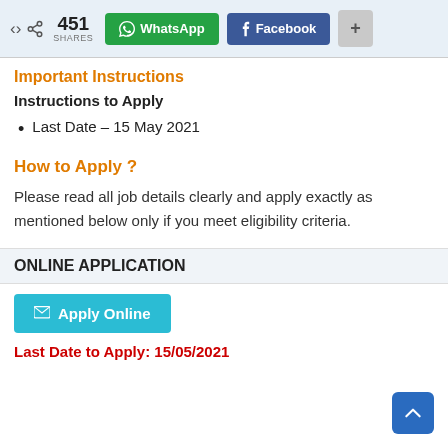451 SHARES  WhatsApp  Facebook  +
Important Instructions
Instructions to Apply
Last Date – 15 May 2021
How to Apply ?
Please read all job details clearly and apply exactly as mentioned below only if you meet eligibility criteria.
ONLINE APPLICATION
Apply Online
Last Date to Apply: 15/05/2021